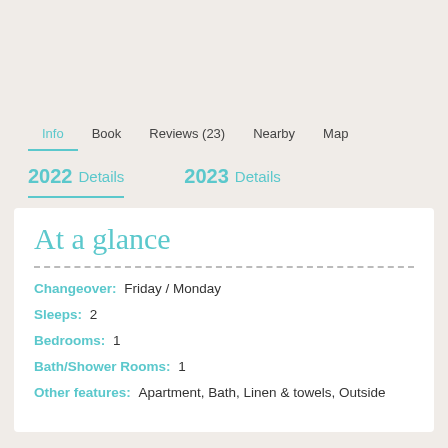Info  Book  Reviews (23)  Nearby  Map
2022 Details  2023 Details
At a glance
Changeover: Friday / Monday
Sleeps: 2
Bedrooms: 1
Bath/Shower Rooms: 1
Other features: Apartment, Bath, Linen & towels, Outside